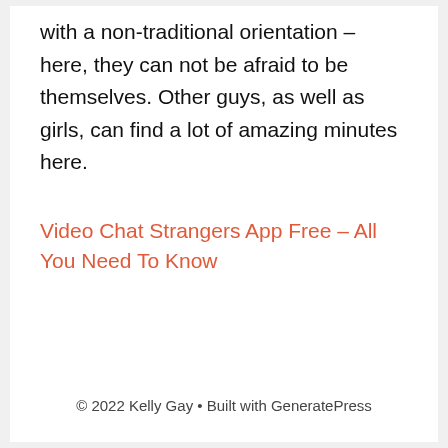with a non-traditional orientation – here, they can not be afraid to be themselves. Other guys, as well as girls, can find a lot of amazing minutes here.
Video Chat Strangers App Free – All You Need To Know
© 2022 Kelly Gay • Built with GeneratePress